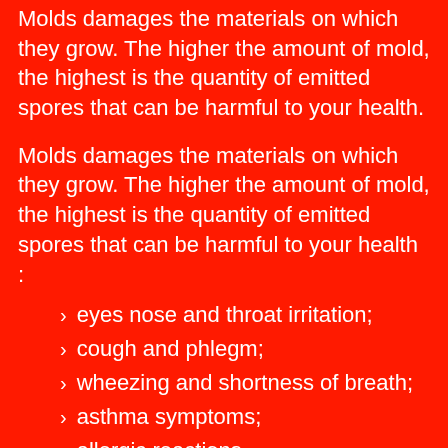Molds damages the materials on which they grow. The higher the amount of mold, the highest is the quantity of emitted spores that can be harmful to your health.
Molds damages the materials on which they grow. The higher the amount of mold, the highest is the quantity of emitted spores that can be harmful to your health :
eyes nose and throat irritation;
cough and phlegm;
wheezing and shortness of breath;
asthma symptoms;
allergic reactions.